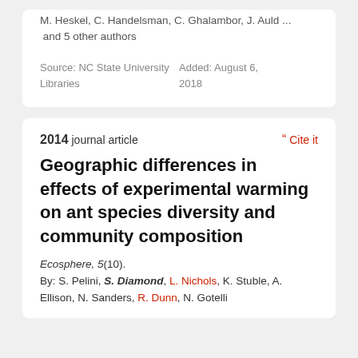M. Heskel, C. Handelsman, C. Ghalambor, J. Auld ... and 5 other authors
Source: NC State University Libraries
Added: August 6, 2018
2014 journal article
Cite it
Geographic differences in effects of experimental warming on ant species diversity and community composition
Ecosphere, 5(10).
By: S. Pelini, S. Diamond, L. Nichols, K. Stuble, A. Ellison, N. Sanders, R. Dunn, N. Gotelli